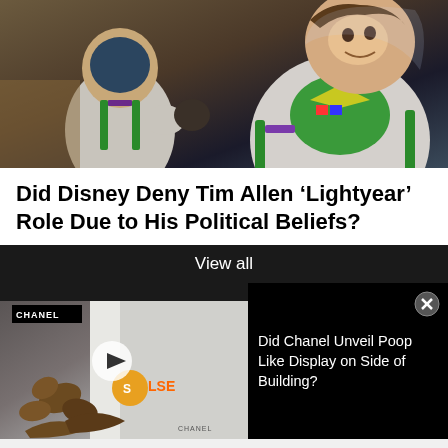[Figure (screenshot): Animated screenshot from Lightyear movie showing two Buzz Lightyear figures in space suits]
Did Disney Deny Tim Allen ‘Lightyear’ Role Due to His Political Beliefs?
View all
[Figure (screenshot): Video thumbnail showing Chanel building with poop-shaped objects in foreground, with False badge overlay and play button]
Did Chanel Unveil Poop Like Display on Side of Building?